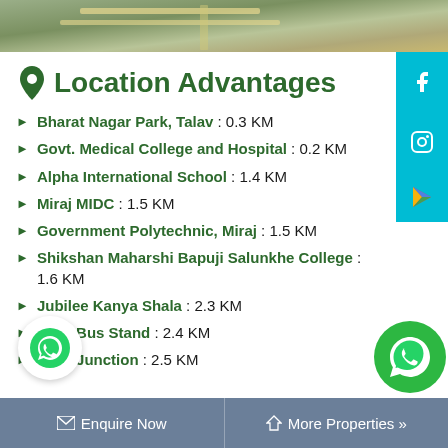[Figure (map): Aerial satellite map view of the area]
Location Advantages
Bharat Nagar Park, Talav : 0.3 KM
Govt. Medical College and Hospital : 0.2 KM
Alpha International School : 1.4 KM
Miraj MIDC : 1.5 KM
Government Polytechnic, Miraj : 1.5 KM
Shikshan Maharshi Bapuji Salunkhe College : 1.6 KM
Jubilee Kanya Shala : 2.3 KM
Miraj Bus Stand : 2.4 KM
Miraj Junction : 2.5 KM
Enquire Now   More Properties »